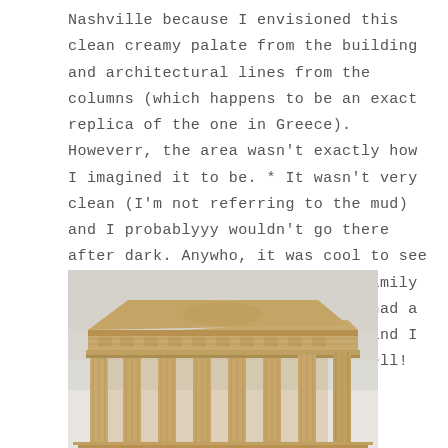Nashville because I envisioned this clean creamy palate from the building and architectural lines from the columns (which happens to be an exact replica of the one in Greece). Howeverr, the area wasn't exactly how I imagined it to be. * It wasn't very clean (I'm not referring to the mud) and I probablyyy wouldn't go there after dark. Anywho, it was cool to see and just do something new as a family to explore our new city. Plus B had a blast getting filthy in the mud and I think the pics came out pretty well!
[Figure (photo): Low-angle photograph of the Nashville Parthenon replica, a neoclassical building with large Greek columns and ornate frieze, photographed against a pale overcast sky. The warm sandy/golden tones of the stone are prominent.]